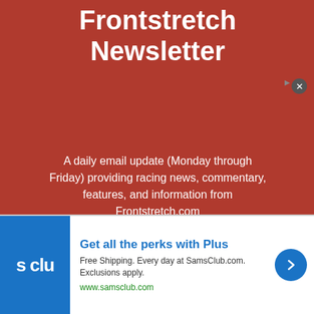Frontstretch Newsletter
A daily email update (Monday through Friday) providing racing news, commentary, features, and information from Frontstretch.com
We hate spam. Your email address will not be sold or shared with anyone else.
Enter your email address
SUBSCRIBE
[Figure (infographic): Advertisement banner for SamsClub.com with blue logo showing 's clu', headline 'Get all the perks with Plus', description text 'Free Shipping. Every day at SamsClub.com. Exclusions apply.', URL 'www.samsclub.com', and a blue circular arrow button on the right.]